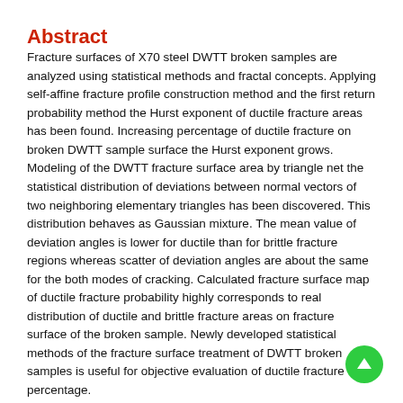Abstract
Fracture surfaces of X70 steel DWTT broken samples are analyzed using statistical methods and fractal concepts. Applying self-affine fracture profile construction method and the first return probability method the Hurst exponent of ductile fracture areas has been found. Increasing percentage of ductile fracture on broken DWTT sample surface the Hurst exponent grows. Modeling of the DWTT fracture surface area by triangle net the statistical distribution of deviations between normal vectors of two neighboring elementary triangles has been discovered. This distribution behaves as Gaussian mixture. The mean value of deviation angles is lower for ductile than for brittle fracture regions whereas scatter of deviation angles are about the same for the both modes of cracking. Calculated fracture surface map of ductile fracture probability highly corresponds to real distribution of ductile and brittle fracture areas on fracture surface of the broken sample. Newly developed statistical methods of the fracture surface treatment of DWTT broken samples is useful for objective evaluation of ductile fracture percentage.